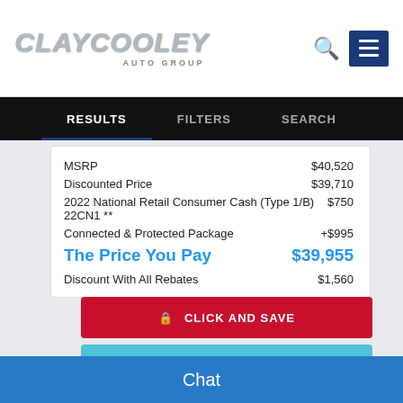[Figure (logo): ClayCooley Auto Group logo with silver metallic text and 'AUTO GROUP' subtitle]
RESULTS   FILTERS   SEARCH
|  |  |
| --- | --- |
| MSRP | $40,520 |
| Discounted Price | $39,710 |
| 2022 National Retail Consumer Cash (Type 1/B) 22CN1 ** | $750 |
| Connected & Protected Package | +$995 |
| The Price You Pay | $39,955 |
| Discount With All Rebates | $1,560 |
CLICK AND SAVE
VALUE YOUR TRADE
Chat